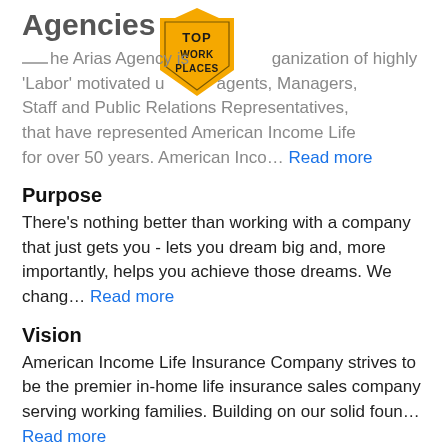Agencies
[Figure (logo): Top Work Places badge — gold pentagon/shield shape with text TOP WORK PLACES]
The Arias Agency is an organization of highly 'Labor' motivated union agents, Managers, Staff and Public Relations Representatives, that have represented American Income Life for over 50 years. American Inco… Read more
Purpose
There's nothing better than working with a company that just gets you - lets you dream big and, more importantly, helps you achieve those dreams. We chang… Read more
Vision
American Income Life Insurance Company strives to be the premier in-home life insurance sales company serving working families. Building on our solid foun… Read more
Mission
To protect the blue collar working families while creating